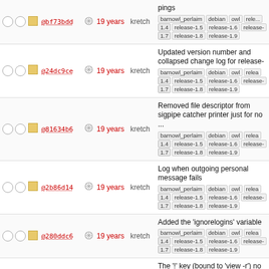|  |  | hash |  | age | author | description/tags |
| --- | --- | --- | --- | --- | --- | --- |
| ○○ | □ | @bf73bdd | ⊕ | 19 years | kretch | pings | barnowl_perlaim debian owl rele... | 1.4 release-1.5 release-1.6 release- | 1.7 release-1.8 release-1.9 |
| ○○ | □ | @24dc9ce | ⊕ | 19 years | kretch | Updated version number and collapsed change log for release- | barnowl_perlaim debian owl relea | 1.4 release-1.5 release-1.6 release- | 1.7 release-1.8 release-1.9 |
| ○○ | □ | @81634b6 | ⊕ | 19 years | kretch | Removed file descriptor from sigpipe catcher printer just for no ... | barnowl_perlaim debian owl relea | 1.4 release-1.5 release-1.6 release- | 1.7 release-1.8 release-1.9 |
| ○○ | □ | @2b86d14 | ⊕ | 19 years | kretch | Log when outgoing personal message fails | barnowl_perlaim debian owl relea | 1.4 release-1.5 release-1.6 release- | 1.7 release-1.8 release-1.9 |
| ○○ | □ | @280ddc6 | ⊕ | 19 years | kretch | Added the 'ignorelogins' variable | barnowl_perlaim debian owl relea | 1.4 release-1.5 release-1.6 release- | 1.7 release-1.8 release-1.9 |
| ○○ | □ | @3895e23 | ⊕ | 19 years | kretch | The '!' key (bound to 'view -r') no creates a negative version of the | barnowl_perlaim debian owl relea | 1.4 release-1.5 release-1.6 release- | 1.7 release-1.8 release-1.9 |
| ○○ | □ | @330bcec | ⊕ | 19 years | kretch | In the sepbar, reverse video the view name when it's not set to ... | barnowl_perlaim debian owl relea | 1.4 release-1.5 release-1.6 release- | 1.7 release-1.8 release-1.9 |